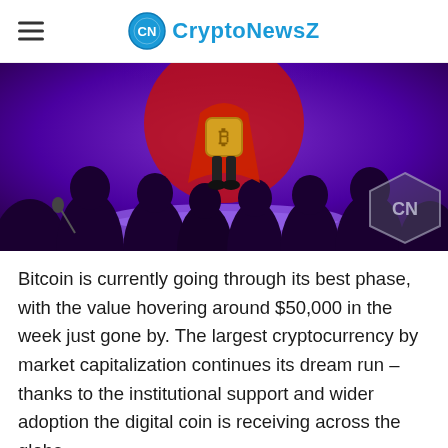CryptoNewsZ
[Figure (illustration): Animated Bitcoin superhero character on a purple stage, silhouettes of audience members in foreground, CryptoNewsZ CN badge watermark in bottom right]
Bitcoin is currently going through its best phase, with the value hovering around $50,000 in the week just gone by. The largest cryptocurrency by market capitalization continues its dream run – thanks to the institutional support and wider adoption the digital coin is receiving across the globe.
In terms of the most recent data, Bitcoin has maintained a...